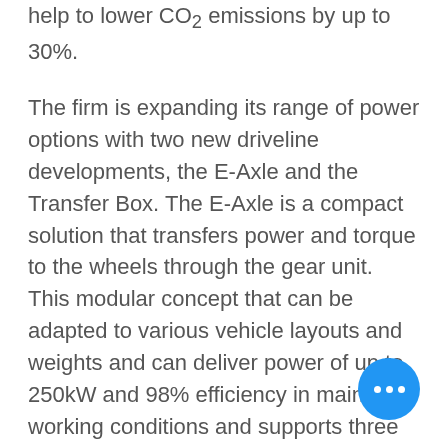help to lower CO2 emissions by up to 30%.
The firm is expanding its range of power options with two new driveline developments, the E-Axle and the Transfer Box. The E-Axle is a compact solution that transfers power and torque to the wheels through the gear unit. This modular concept that can be adapted to various vehicle layouts and weights and can deliver power of up to 250kW and 98% efficiency in main working conditions and supports three vehicle layouts - front, rear and all-wheel drive. The Transfer Box solution adds an electric power unit to the original engine, enabling the management propulsion modes. The Transfer Box is